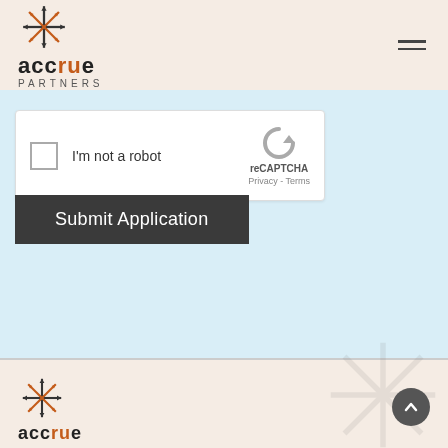accrue PARTNERS
[Figure (screenshot): reCAPTCHA widget with checkbox labeled I'm not a robot]
Submit Application
[Figure (logo): Accrue Partners logo with snowflake icon in footer]